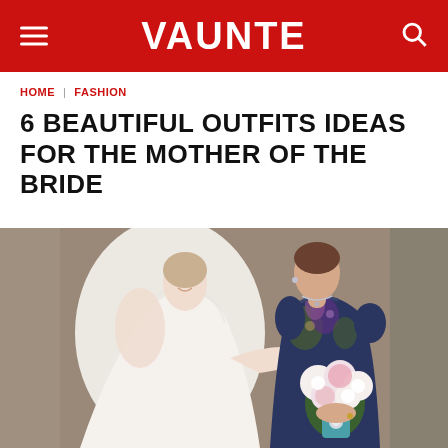VAUNTE
HOME | FASHION
6 BEAUTIFUL OUTFITS IDEAS FOR THE MOTHER OF THE BRIDE
[Figure (photo): A bride in a white lace dress stands next to the mother of the bride who is wearing a navy and floral dress and holding a bouquet of pink and white flowers.]